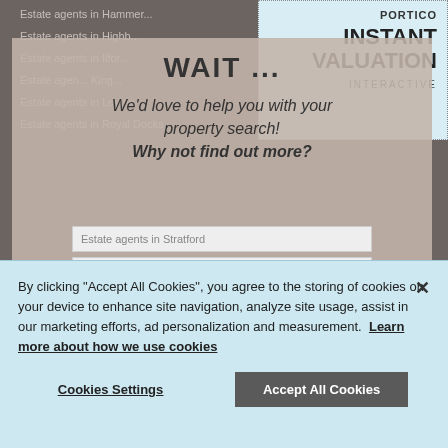[Figure (screenshot): A website screenshot showing a partially visible estate agents listings page with a 'WAIT...' modal overlay and a 'PORTICO INSTANT VALUATION INTERACTIVE' box in the top right corner. Background links show various London estate agent location pages.]
WAIT ...
We'd love to help you with your property search! Why not find out more?
By clicking “Accept All Cookies”, you agree to the storing of cookies on your device to enhance site navigation, analyze site usage, assist in our marketing efforts, ad personalization and measurement.  Learn more about how we use cookies
Cookies Settings
Accept All Cookies